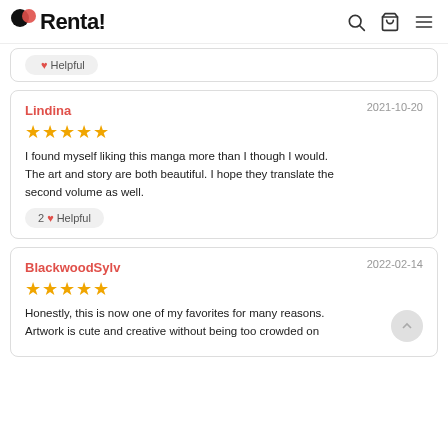Renta!
2 ♥ Helpful
Lindina
★★★★★
2021-10-20
I found myself liking this manga more than I though I would. The art and story are both beautiful. I hope they translate the second volume as well.
2 ♥ Helpful
BlackwoodSylv
★★★★★
2022-02-14
Honestly, this is now one of my favorites for many reasons. Artwork is cute and creative without being too crowded on